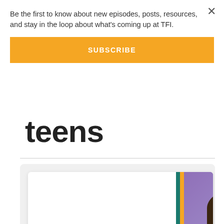Be the first to know about new episodes, posts, resources, and stay in the loop about what's coming up at TFI.
SUBSCRIBE
teens
[Figure (photo): Podcast card for Josh Ballard from The Forgotten Podcast S1ZE15, showing a smiling man with dark hair against a purple/blue background, with teal and yellow accent stripes.]